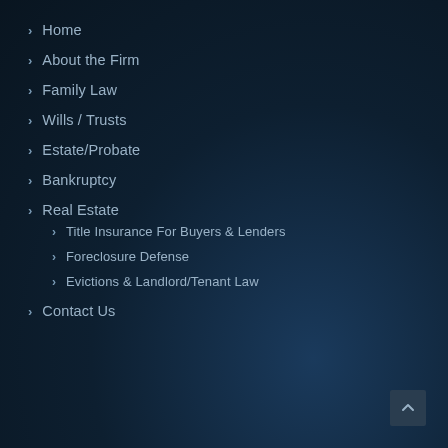Home
About the Firm
Family Law
Wills / Trusts
Estate/Probate
Bankruptcy
Real Estate
Title Insurance For Buyers & Lenders
Foreclosure Defense
Evictions & Landlord/Tenant Law
Contact Us